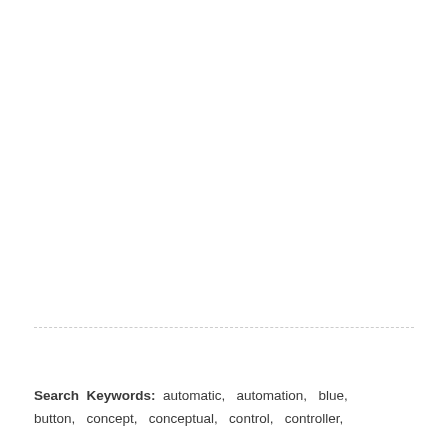Search Keywords: automatic, automation, blue, button, concept, conceptual, control, controller,